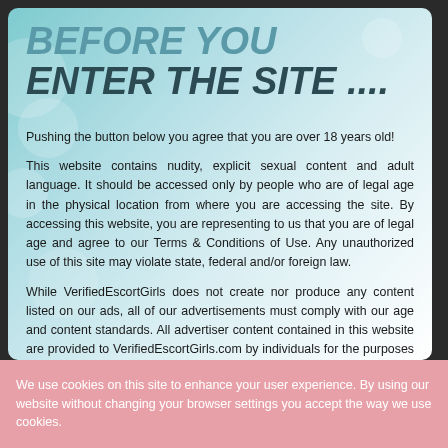BEFORE YOU ENTER THE SITE ....
Pushing the button below you agree that you are over 18 years old!
This website contains nudity, explicit sexual content and adult language. It should be accessed only by people who are of legal age in the physical location from where you are accessing the site. By accessing this website, you are representing to us that you are of legal age and agree to our Terms & Conditions of Use. Any unauthorized use of this site may violate state, federal and/or foreign law.
While VerifiedEscortGirls does not create nor produce any content listed on our ads, all of our advertisements must comply with our age and content standards. All advertiser content contained in this website are provided to VerifiedEscortGirls.com by individuals for the purposes of paid advertisements and are the sole responsibility of the individual advertisers. VerifiedEscortGirls
We use cookies on this site to enhance your user experience. By using our website without changing your browser settings you accept the way we use cookies.